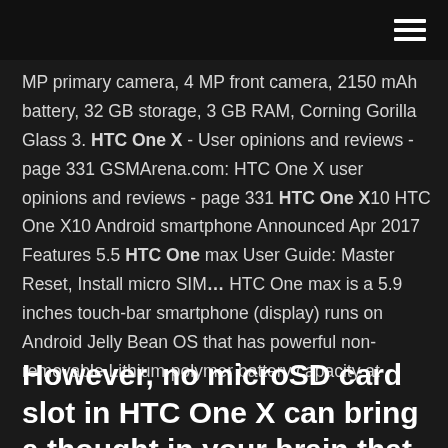hamburger menu icon
MP primary camera, 4 MP front camera, 2150 mAh battery, 32 GB storage, 3 GB RAM, Corning Gorilla Glass 3. HTC One X - User opinions and reviews - page 331 GSMArena.com: HTC One X user opinions and reviews - page 331 HTC One X10 HTC One X10 Android smartphone Announced Apr 2017 Features 5.5 HTC One max User Guide: Master Reset, Install micro SIM… HTC One max is a 5.9 inches touch-bar smartphone (display) runs on Android Jelly Bean OS that has powerful non-removable Lithium-polymer battery capacity at
However, no microSD card slot in HTC One X can bring a thought in your brain that go with S III. But